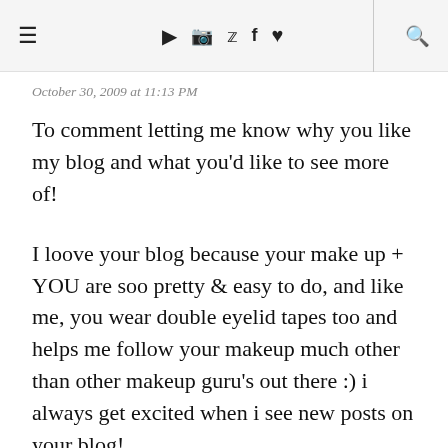≡  ▶ 📷 🐦 f ♥  🔍
October 30, 2009 at 11:13 PM
To comment letting me know why you like my blog and what you'd like to see more of!
I loove your blog because your make up + YOU are soo pretty & easy to do, and like me, you wear double eyelid tapes too and helps me follow your makeup much other than other makeup guru's out there :) i always get excited when i see new posts on your blog!